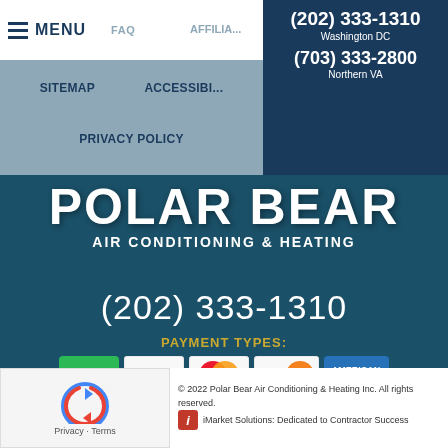≡ MENU   FAQ   AFFILIATE
(202) 333-1310 Washington DC (703) 333-2800 Northern VA
SITEMAP   ACCESSIBILITY STATEMENT
PRIVACY POLICY
POLAR BEAR AIR CONDITIONING & HEATING
(202) 333-1310
PAYMENT TYPES:
FINANCING AVAILABLE »
© 2022 Polar Bear Air Conditioning & Heating Inc. All rights reserved.
iMarket Solutions: Dedicated to Contractor Success